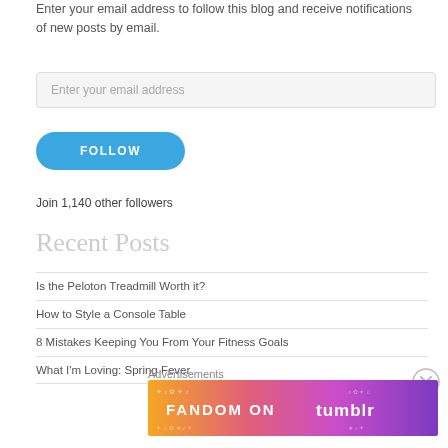Enter your email address to follow this blog and receive notifications of new posts by email.
Enter your email address
FOLLOW
Join 1,140 other followers
Recent Posts
Is the Peloton Treadmill Worth it?
How to Style a Console Table
8 Mistakes Keeping You From Your Fitness Goals
What I'm Loving: Spring Fever
Advertisements
[Figure (illustration): FANDOM ON tumblr advertisement banner with colorful gradient background in orange, pink, and purple with decorative icons]